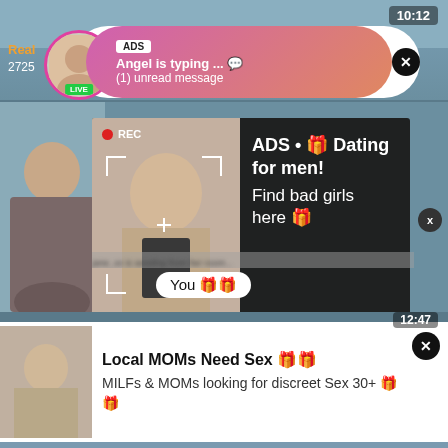[Figure (screenshot): Top section showing a live stream thumbnail with teal/blue background, timestamp 10:12, orange 'Real' label, view count 2725]
[Figure (infographic): Ad pill notification: profile avatar with pink border and LIVE badge, gradient pink-orange box with ADS tag, 'Angel is typing ... 💬' and '(1) unread message', close X button]
[Figure (screenshot): Middle section: dark ad overlay box with REC indicator and camera frame lines over a woman's photo, text 'ADS • 🎁 Dating for men! Find bad girls here 🎁', close X button, blurred message bar, 'You 🎁🎁' chat bubble]
[Figure (infographic): Bottom ad card: woman photo thumbnail, bold text 'Local MOMs Need Sex 🎁🎁', subtitle 'MILFs & MOMs looking for discreet Sex 30+ 🎁🎁', timestamp 12:47, close X button]